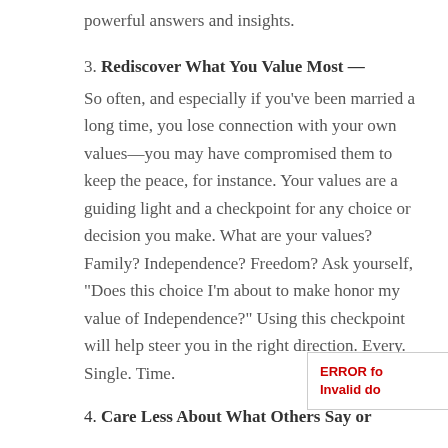powerful answers and insights.
3. Rediscover What You Value Most — So often, and especially if you've been married a long time, you lose connection with your own values—you may have compromised them to keep the peace, for instance. Your values are a guiding light and a checkpoint for any choice or decision you make. What are your values? Family? Independence? Freedom? Ask yourself, “Does this choice I'm about to make honor my value of Independence?” Using this checkpoint will help steer you in the right direction. Every. Single. Time.
4. Care Less About What Others Say or